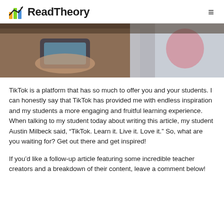ReadTheory
[Figure (photo): Close-up photo of hands holding a smartphone, with a person wearing a sports jersey in the background]
TikTok is a platform that has so much to offer you and your students. I can honestly say that TikTok has provided me with endless inspiration and my students a more engaging and fruitful learning experience. When talking to my student today about writing this article, my student Austin Milbeck said, “TikTok. Learn it. Live it. Love it.” So, what are you waiting for? Get out there and get inspired!
If you’d like a follow-up article featuring some incredible teacher creators and a breakdown of their content, leave a comment below!